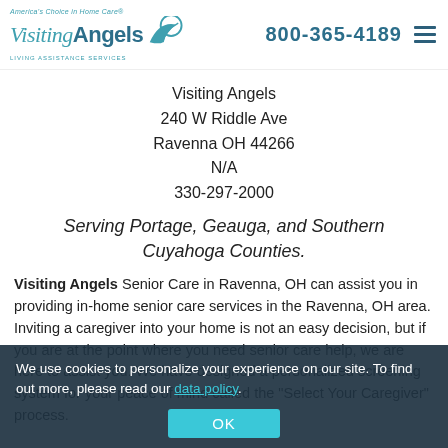America's Choice in Home Care · Visiting Angels · LIVING ASSISTANCE SERVICES | 800-365-4189
Visiting Angels
240 W Riddle Ave
Ravenna OH 44266
N/A
330-297-2000
Serving Portage, Geauga, and Southern Cuyahoga Counties.
Visiting Angels Senior Care in Ravenna, OH can assist you in providing in-home senior care services in the Ravenna, OH area. Inviting a caregiver into your home is not an easy decision, but if you are at the point where you need senior care help, we are here to assist you. We have designed a personalized screening system for your peace of mind called the "Select Your Caregiver" process.
We use cookies to personalize your experience on our site. To find out more, please read our data policy.